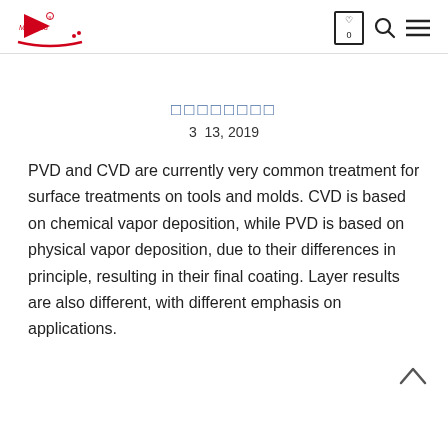Meet you [logo] — cart, search, menu icons
□□□□□□□□
3  13, 2019
PVD and CVD are currently very common treatment for surface treatments on tools and molds. CVD is based on chemical vapor deposition, while PVD is based on physical vapor deposition, due to their differences in principle, resulting in their final coating. Layer results are also different, with different emphasis on applications.